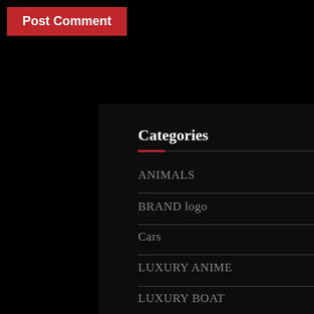Post Comment
Categories
ANIMALS
BRAND logo
Cars
LUXURY ANIME
LUXURY BOAT
LUXURY HOME DECOR